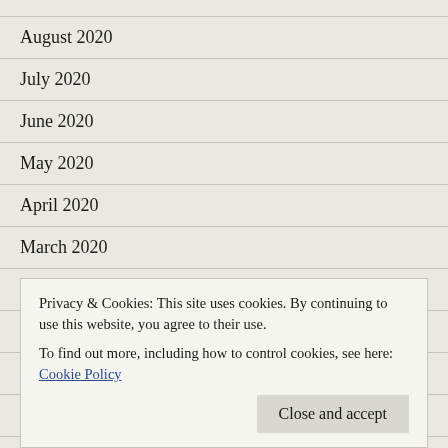August 2020
July 2020
June 2020
May 2020
April 2020
March 2020
December 2019
November 2019
Privacy & Cookies: This site uses cookies. By continuing to use this website, you agree to their use.
To find out more, including how to control cookies, see here: Cookie Policy
Close and accept